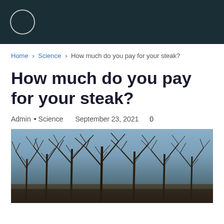Home › Science › How much do you pay for your steak?
How much do you pay for your steak?
Admin • Science   September 23, 2021   0
[Figure (photo): Photograph of bare winter trees with dark branches against a blue-grey sky, dark toned landscape]